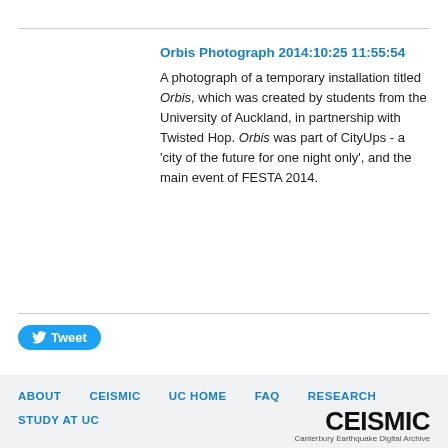Orbis Photograph 2014:10:25 11:55:54
A photograph of a temporary installation titled Orbis, which was created by students from the University of Auckland, in partnership with Twisted Hop. Orbis was part of CityUps - a 'city of the future for one night only', and the main event of FESTA 2014.
[Figure (other): Tweet button with Twitter bird icon]
ABOUT   CEISMIC   UC HOME   FAQ   RESEARCH   STUDY AT UC
CEISMIC Canterbury Earthquake Digital Archive